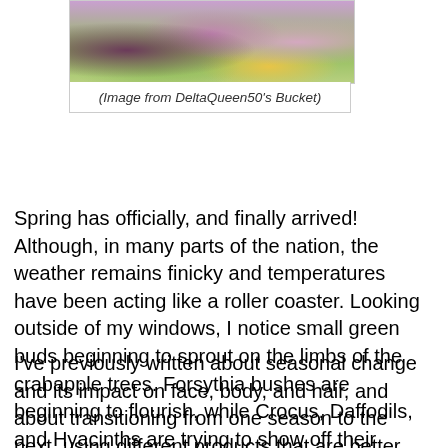[Figure (photo): Photograph of spring flowers including pink blossoms and yellow daffodils with tree branches]
(Image from DeltaQueen50's Bucket)
Spring has officially, and finally arrived!  Although, in many parts of the nation, the weather remains finicky and temperatures have been acting like a roller coaster.  Looking outside of my windows, I notice small green buds beginning to sprout on the limbs of the crabapple trees.  Forsythia bushes are beginning to flourish, while Crocus, Daffodils, and Hyacinths are trying to show off their blooms.  And although Spring seems to have sprung, in some parts of the country today, there are snow blizzard warnings; even where I live, it's back to Winter temps, with snow being predicted for later in the day.
I've previously written about seasonal change and its impact on face, body, and hair, and about transitioning from one season to the next, using different products that are better suited for those seasonal changes.  Today's edition features products that are perfect for transitioning into the new beginnings of spring.  They include products for the face and